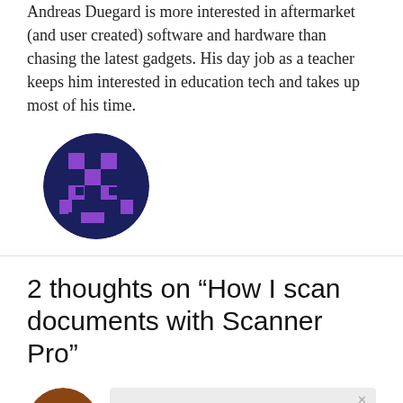Andreas Duegard is more interested in aftermarket (and user created) software and hardware than chasing the latest gadgets. His day job as a teacher keeps him interested in education tech and takes up most of his time.
[Figure (illustration): Circular avatar with pixel-art style face: dark navy background with purple pixel blocks forming a face shape]
2 thoughts on “How I scan documents with Scanner Pro”
[Figure (illustration): Circular avatar with pink/magenta T-shape or hat on brown background]
[Figure (screenshot): Video player placeholder showing 'No compatible source was found for this media.' error message on grey background]